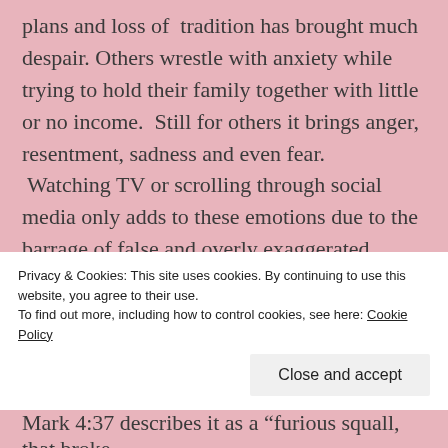plans and loss of tradition has brought much despair. Others wrestle with anxiety while trying to hold their family together with little or no income.  Still for others it brings anger, resentment, sadness and even fear.  Watching TV or scrolling through social media only adds to these emotions due to the barrage of false and overly exaggerated information that pours through both media channels.  Even in the comfort of our homes we cannot escape the eerie silence and chaotic noise of COVID-19.  It's almost like that dreary calm in nature when the skies are dark and the trees are motionless just before the madness strikes as a destructive storm
Privacy & Cookies: This site uses cookies. By continuing to use this website, you agree to their use.
To find out more, including how to control cookies, see here: Cookie Policy
Close and accept
Mark 4:37 describes it as a "furious squall,  that broke